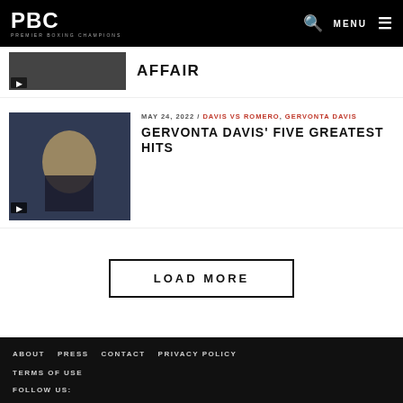PBC PREMIER BOXING CHAMPIONS | MENU
AFFAIR
MAY 24, 2022 / DAVIS VS ROMERO, GERVONTA DAVIS
GERVONTA DAVIS' FIVE GREATEST HITS
LOAD MORE
ABOUT  PRESS  CONTACT  PRIVACY POLICY  TERMS OF USE  FOLLOW US: